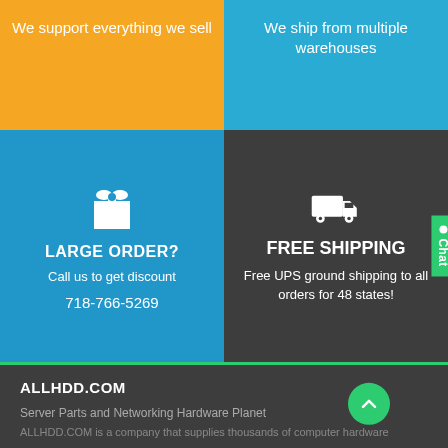We support everything we sell
We ship from multiple warehouses
[Figure (infographic): Blue box with gift box icon, 'LARGE ORDER?' heading, 'Call us to get discount' and phone number 718-766-5269]
[Figure (infographic): Dark gray box with delivery truck icon, 'FREE SHIPPING' heading, 'Free UPS ground shipping to all orders for 48 states!']
ALLHDD.COM
Server Parts and Networking Hardware Planet
ALLHDD.COM is a company that supplies thousands of computer hardware